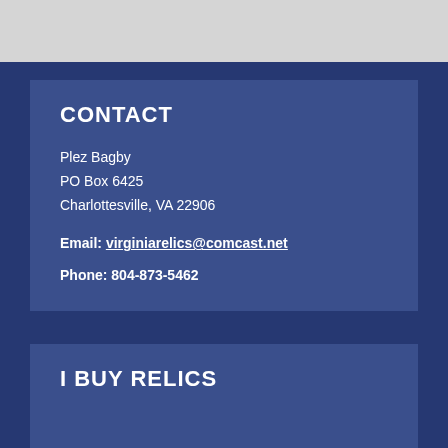CONTACT
Plez Bagby
PO Box 6425
Charlottesville, VA 22906
Email: virginiarelics@comcast.net
Phone: 804-873-5462
I BUY RELICS